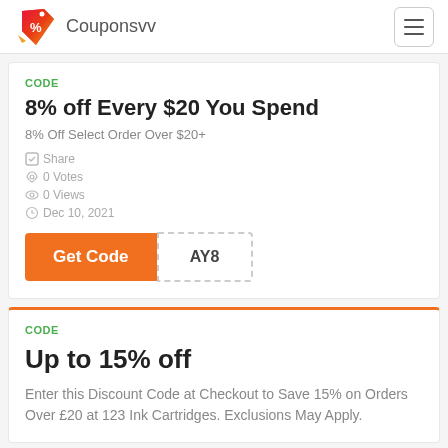Couponsvv
CODE
8% off Every $20 You Spend
8% Off Select Order Over $20+
Share
0 Votes
0 Views
Dec 10, 2021
Get Code AY8
CODE
Up to 15% off
Enter this Discount Code at Checkout to Save 15% on Orders Over £20 at 123 Ink Cartridges. Exclusions May Apply.